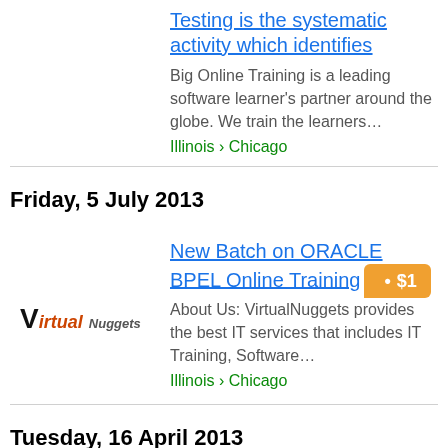Testing is the systematic activity which identifies
Big Online Training is a leading software learner's partner around the globe. We train the learners…
Illinois › Chicago
Friday, 5 July 2013
New Batch on ORACLE BPEL Online Training
About Us: VirtualNuggets provides the best IT services that includes IT Training, Software…
Illinois › Chicago
Tuesday, 16 April 2013